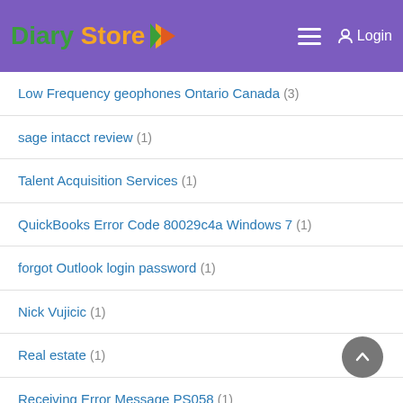Diary Store
Low Frequency geophones Ontario Canada (3)
sage intacct review (1)
Talent Acquisition Services (1)
QuickBooks Error Code 80029c4a Windows 7 (1)
forgot Outlook login password (1)
Nick Vujicic (1)
Real estate (1)
Receiving Error Message PS058 (1)
QuickBooks 2018 Error 6069 (1)
#quickbooks error 2107 (2)
ac repair services in dubai (1)
QuickBooks error message 102 (1)